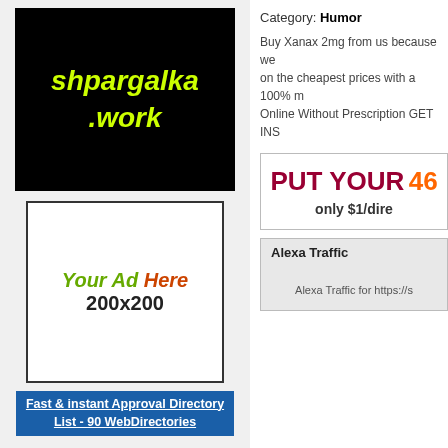[Figure (logo): Black background logo with yellow-green italic text reading 'shpargalka .work']
[Figure (infographic): White bordered ad placeholder box reading 'Your Ad Here 200x200']
Fast & instant Approval Directory List - 90 WebDirectories
Category: Humor
Buy Xanax 2mg from us because we on the cheapest prices with a 100% m Online Without Prescription GET INS RETURN POLICY. FREE & FAST DE Buy Xanax 2mg Online Order order h
[Figure (infographic): Promotional banner reading 'PUT YOUR 46' in red/orange and 'only $1/dire' below]
Alexa Traffic
Alexa Traffic for https://s